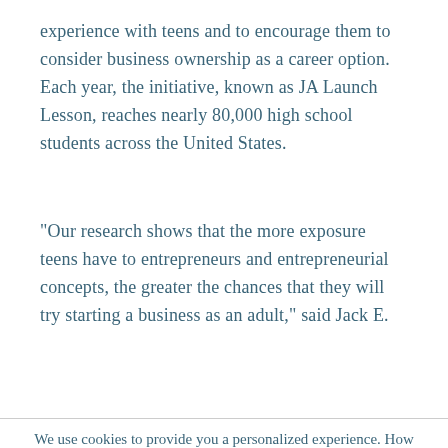experience with teens and to encourage them to consider business ownership as a career option. Each year, the initiative, known as JA Launch Lesson, reaches nearly 80,000 high school students across the United States.
"Our research shows that the more exposure teens have to entrepreneurs and entrepreneurial concepts, the greater the chances that they will try starting a business as an adult," said Jack E.
We use cookies to provide you a personalized experience. How we do this is by analyzing user behavior on our site and sharing data with our advertising and analytics partners. You consent to our cookie policy if you continue to use this website.
I UNDERSTAND